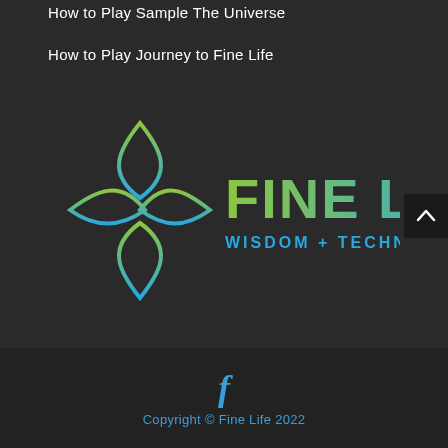How to Play Sample The Universe
How to Play Journey to Fine Life
[Figure (logo): Fine Life Wisdom + Technology logo: a stylized leaf/diamond geometric icon with green-to-blue gradient, followed by 'FINE LIFE' in large gradient green-to-blue text, and 'WISDOM + TECHNOLOGY' in smaller blue text below.]
Copyright © Fine Life 2022